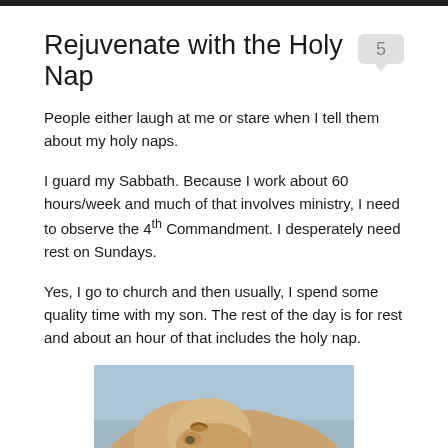Rejuvenate with the Holy Nap
People either laugh at me or stare when I tell them about my holy naps.
I guard my Sabbath. Because I work about 60 hours/week and much of that involves ministry, I need to observe the 4th Commandment. I desperately need rest on Sundays.
Yes, I go to church and then usually, I spend some quality time with my son. The rest of the day is for rest and about an hour of that includes the holy nap.
[Figure (photo): Close-up photo of a sleeping golden puppy/dog, warm tan fur tones, blurred blue background]